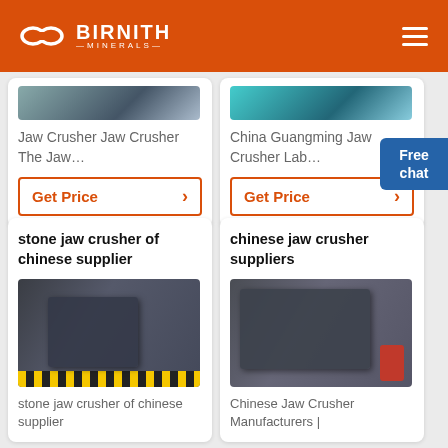BIRNITH MINERALS
Jaw Crusher Jaw Crusher The Jaw…
Get Price
China Guangming Jaw Crusher Lab…
Get Price
stone jaw crusher of chinese supplier
[Figure (photo): Stone jaw crusher machine in a factory setting with yellow safety markings on floor]
stone jaw crusher of chinese supplier
chinese jaw crusher suppliers
[Figure (photo): Chinese jaw crusher machine in an industrial warehouse]
Chinese Jaw Crusher Manufacturers |